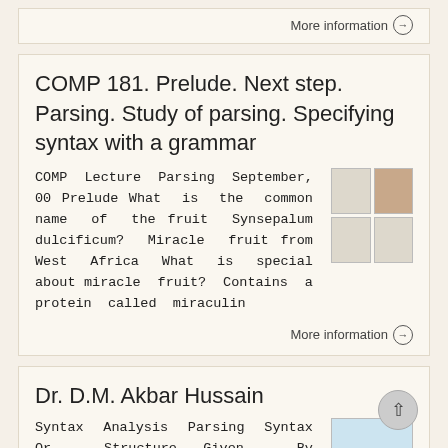More information →
COMP 181. Prelude. Next step. Parsing. Study of parsing. Specifying syntax with a grammar
COMP Lecture Parsing September, 00 Prelude What is the common name of the fruit Synsepalum dulcificum? Miracle fruit from West Africa What is special about miracle fruit? Contains a protein called miraculin
More information →
Dr. D.M. Akbar Hussain
Syntax Analysis Parsing Syntax Or Structure Given By Determines Grammar Rules Context Free Grammar 1 Context Free Grammars (CFG) Provides the syntactic ...